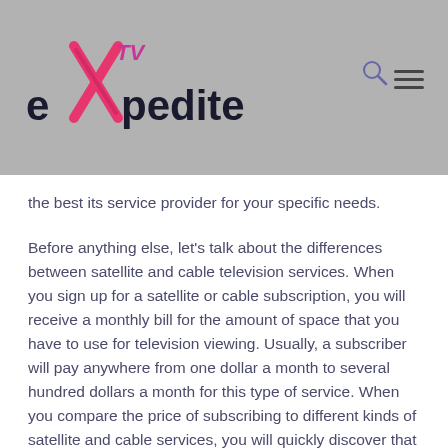eXpedite TV — website header with logo, search icon, and hamburger menu
the best its service provider for your specific needs.
Before anything else, let's talk about the differences between satellite and cable television services. When you sign up for a satellite or cable subscription, you will receive a monthly bill for the amount of space that you have to use for television viewing. Usually, a subscriber will pay anywhere from one dollar a month to several hundred dollars a month for this type of service. When you compare the price of subscribing to different kinds of satellite and cable services, you will quickly discover that subscribing to IPTV makes far more sense than paying a large sum of money every single month just